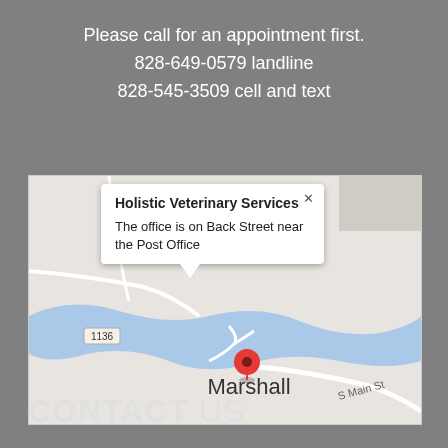Please call for an appointment first.
828-649-0579 landline
828-545-3509 cell and text
[Figure (map): Google Maps screenshot showing Marshall, NC area with a red location pin marker. A popup tooltip reads 'Holistic Veterinary Services - The office is on Back Street near the Post Office'. Map shows river, roads including S Main St and route 1136.]
CONTACT US